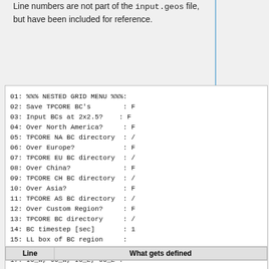Line numbers are not part of the input.geos file, but have been included for reference.
[Figure (screenshot): Code block showing a nested grid menu configuration file excerpt with lines 01-17, including options for Save TPCORE BC's, Input BCs at 2x2.5?, Over North America?, TPCORE NA BC directory, Over Europe?, TPCORE EU BC directory, Over China?, TPCORE CH BC directory, Over Asia?, TPCORE AS BC directory, Over Custom Region?, TPCORE BC directory, BC timestep [sec], LL box of BC region, UR box of BC region, I0_W J0_W I0_E J0_E]
| Line | What gets defined |
| --- | --- |